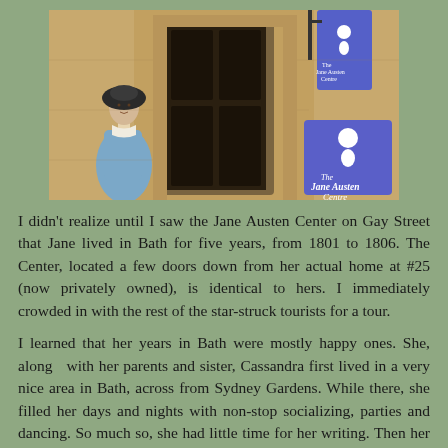[Figure (photo): Photograph of the Jane Austen Centre on Gay Street, Bath. Shows a stone building entrance with a statue or figurine of a Regency-era woman on the left wearing a bonnet and blue dress. A blue Jane Austen Centre sign is visible on the right side of the building, along with a hanging banner sign.]
I didn't realize until I saw the Jane Austen Center on Gay Street that Jane lived in Bath for five years, from 1801 to 1806. The Center, located a few doors down from her actual home at #25 (now privately owned), is identical to hers. I immediately crowded in with the rest of the star-struck tourists for a tour.
I learned that her years in Bath were mostly happy ones. She, along  with her parents and sister, Cassandra first lived in a very nice area in Bath, across from Sydney Gardens. While there, she filled her days and nights with non-stop socializing, parties and dancing. So much so, she had little time for her writing. Then her father died and left the